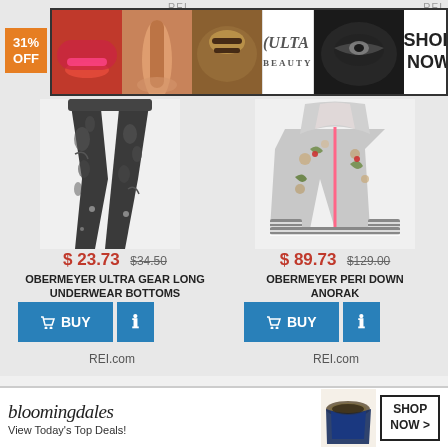[Figure (screenshot): Ulta Beauty advertisement banner with makeup images and SHOP NOW button]
31% OFF
[Figure (photo): Obermeyer Ultra Gear Long Underwear Bottoms - black floral leggings]
$ 23.73  $34.50
OBERMEYER ULTRA GEAR LONG UNDERWEAR BOTTOMS
[Figure (photo): Obermeyer Peri Down Anorak - grey floral jacket]
$ 89.73  $129.00
OBERMEYER PERI DOWN ANORAK
REI.com
REI.com
29% OFF
29% OFF
[Figure (screenshot): Bloomingdales advertisement banner with View Today's Top Deals and SHOP NOW button]